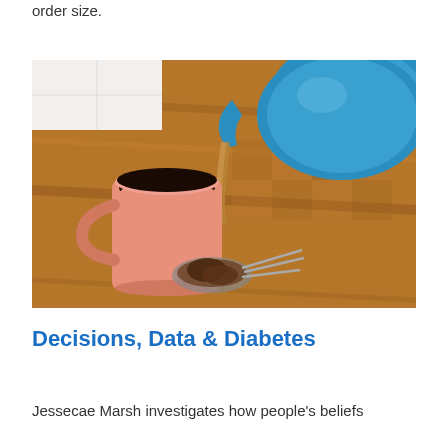order size.
[Figure (photo): A pink ceramic mug being filled with tea poured from a blue teapot, sitting on a wooden butcher block cutting board. A used tea strainer with tea leaves is visible in the foreground.]
Decisions, Data & Diabetes
Jessecae Marsh investigates how people's beliefs